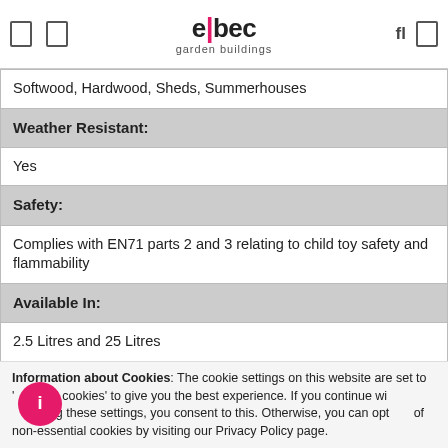elbec garden buildings
| Softwood, Hardwood, Sheds, Summerhouses |
| Weather Resistant: |
| Yes |
| Safety: |
| Complies with EN71 parts 2 and 3 relating to child toy safety and flammability |
| Available In: |
| 2.5 Litres and 25 Litres |
| Tips: |
| Recommended that the second coat is applied between 2-4 hours |
Information about Cookies: The cookie settings on this website are set to 'allow all cookies' to give you the best experience. If you continue without changing these settings, you consent to this. Otherwise, you can opt out of non-essential cookies by visiting our Privacy Policy page.